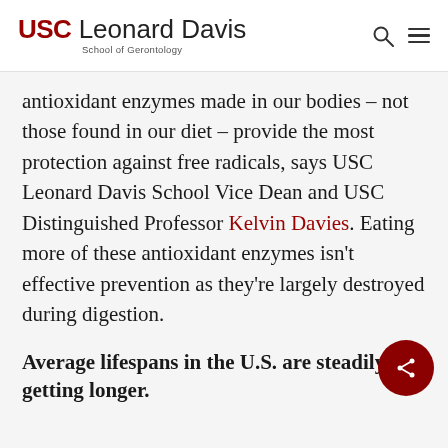USC Leonard Davis School of Gerontology
antioxidant enzymes made in our bodies – not those found in our diet – provide the most protection against free radicals, says USC Leonard Davis School Vice Dean and USC Distinguished Professor Kelvin Davies. Eating more of these antioxidant enzymes isn't effective prevention as they're largely destroyed during digestion.
Average lifespans in the U.S. are steadily getting longer.